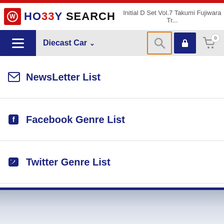HO33Y SEARCH — Initial D Set Vol.7 Takumi Fujiwara Tr...
Diecast Car
NewsLetter List
Facebook Genre List
Twitter Genre List
Blog
Release Date List
Calendar